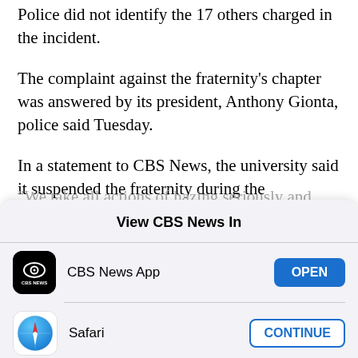Police did not identify the 17 others charged in the incident.
The complaint against the fraternity's chapter was answered by its president, Anthony Gionta, police said Tuesday.
In a statement to CBS News, the university said it suspended the fraternity during the investigation.
"We take all actions of hazing seriously and...
View CBS News In
[Figure (logo): CBS News App icon - black rounded square with CBS eye logo and CBS NEWS text]
CBS News App
OPEN
[Figure (logo): Safari browser icon - blue circle with compass needle]
Safari
CONTINUE